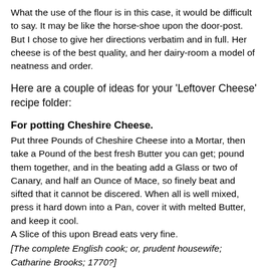What the use of the flour is in this case, it would be difficult to say. It may be like the horse-shoe upon the door-post. But I chose to give her directions verbatim and in full. Her cheese is of the best quality, and her dairy-room a model of neatness and order.
Here are a couple of ideas for your ‘Leftover Cheese’ recipe folder:
For potting Cheshire Cheese.
Put three Pounds of Cheshire Cheese into a Mortar, then take a Pound of the best fresh Butter you can get; pound them together, and in the beating add a Glass or two of Canary, and half an Ounce of Mace, so finely beat and sifted that it cannot be discered. When all is well mixed, press it hard down into a Pan, cover it with melted Butter, and keep it cool.
A Slice of this upon Bread eats very fine.
[The complete English cook; or, prudent housewife; Catharine Brooks; 1770?]
To make a Cheshire Cheese Soop.
Put the Crumb of a Penny-loaf into three Pints of Water, boil